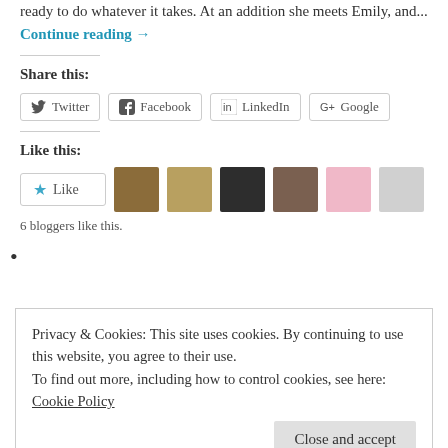ready to do whatever it takes. At an addition she meets Emily, and... Continue reading →
Share this:
Twitter
Facebook
LinkedIn
Google
Like this:
Like
6 bloggers like this.
•
Privacy & Cookies: This site uses cookies. By continuing to use this website, you agree to their use.
To find out more, including how to control cookies, see here: Cookie Policy
Close and accept